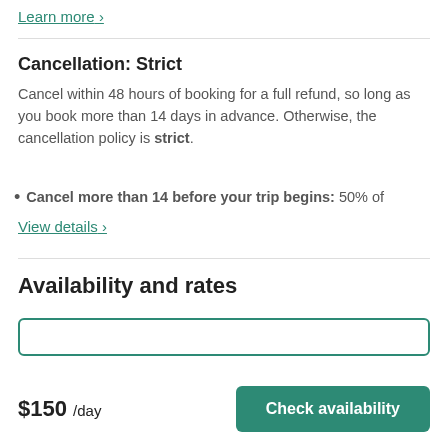Learn more ›
Cancellation: Strict
Cancel within 48 hours of booking for a full refund, so long as you book more than 14 days in advance. Otherwise, the cancellation policy is strict.
Cancel more than 14 before your trip begins: 50% of
View details ›
Availability and rates
$150 /day
Check availability